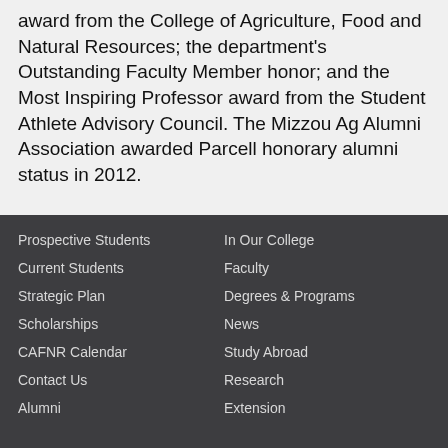award from the College of Agriculture, Food and Natural Resources; the department's Outstanding Faculty Member honor; and the Most Inspiring Professor award from the Student Athlete Advisory Council. The Mizzou Ag Alumni Association awarded Parcell honorary alumni status in 2012.
Prospective Students
In Our College
Current Students
Faculty
Strategic Plan
Degrees & Programs
Scholarships
News
CAFNR Calendar
Study Abroad
Contact Us
Research
Alumni
Extension